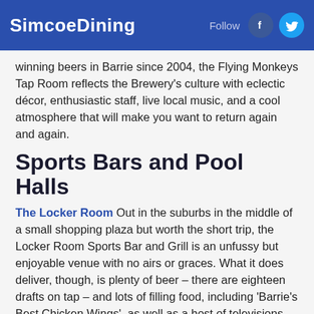SimcoeDining
winning beers in Barrie since 2004, the Flying Monkeys Tap Room reflects the Brewery's culture with eclectic décor, enthusiastic staff, live local music, and a cool atmosphere that will make you want to return again and again.
Sports Bars and Pool Halls
The Locker Room Out in the suburbs in the middle of a small shopping plaza but worth the short trip, the Locker Room Sports Bar and Grill is an unfussy but enjoyable venue with no airs or graces. What it does deliver, though, is plenty of beer – there are eighteen drafts on tap – and lots of filling food, including 'Barrie's Best Chicken Wings', as well as a host of televisions blaring sports around the bar, plus – and this should be a clincher for anyone – free fresh popcorn for its patrons. For the latter alone, The